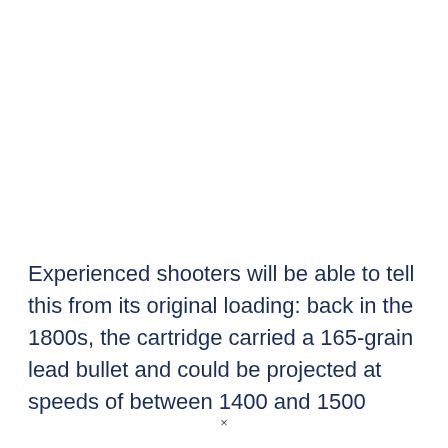Experienced shooters will be able to tell this from its original loading: back in the 1800s, the cartridge carried a 165-grain lead bullet and could be projected at speeds of between 1400 and 1500
×